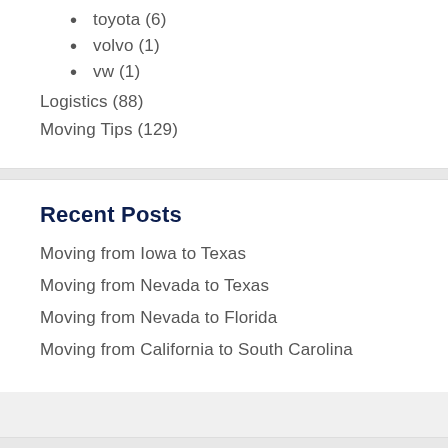toyota (6)
volvo (1)
vw (1)
Logistics (88)
Moving Tips (129)
Recent Posts
Moving from Iowa to Texas
Moving from Nevada to Texas
Moving from Nevada to Florida
Moving from California to South Carolina